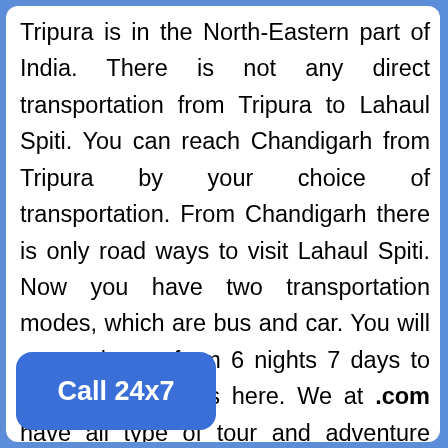Tripura is in the North-Eastern part of India. There is not any direct transportation from Tripura to Lahaul Spiti. You can reach Chandigarh from Tripura by your choice of transportation. From Chandigarh there is only road ways to visit Lahaul Spiti. Now you have two transportation modes, which are bus and car. You will get packages from 6 nights 7 days to 11 nights 12 days here. We at .com have all type of tour and adventure deals.